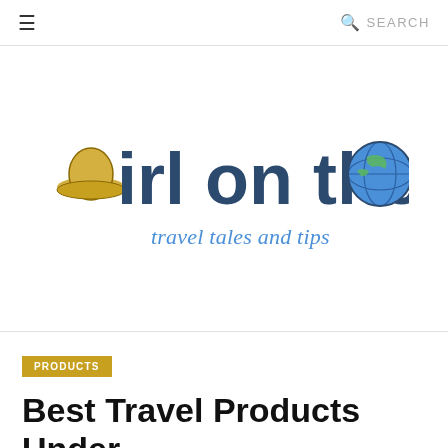≡  🔍 SEARCH
[Figure (logo): Girl on the Go travel tales and tips logo — large bold dark blue text 'Girl on the Go' with a straw hat illustration replacing the G at start, and a globe illustration replacing the second o in 'Go'; italic blue subtitle 'travel tales and tips']
PRODUCTS
Best Travel Products Under